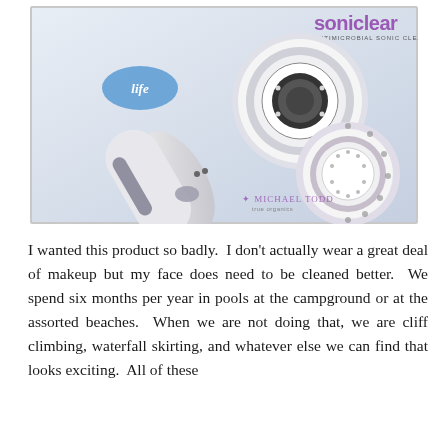[Figure (photo): Product photo of a Michael Todd Soniclear Antimicrobial Sonic Cleansing System, showing a white handheld device with gray accents and two circular brush heads, displayed on product packaging with the brand logo visible.]
I wanted this product so badly. I don't actually wear a great deal of makeup but my face does need to be cleaned better. We spend six months per year in pools at the campground or at the assorted beaches. When we are not doing that, we are cliff climbing, waterfall skirting, and whatever else we can find that looks exciting. All of these